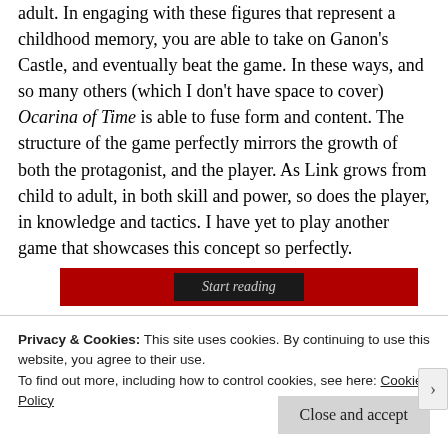adult. In engaging with these figures that represent a childhood memory, you are able to take on Ganon's Castle, and eventually beat the game. In these ways, and so many others (which I don't have space to cover) Ocarina of Time is able to fuse form and content. The structure of the game perfectly mirrors the growth of both the protagonist, and the player. As Link grows from child to adult, in both skill and power, so does the player, in knowledge and tactics. I have yet to play another game that showcases this concept so perfectly.
[Figure (other): Red banner with dark 'Start reading' button in center]
Privacy & Cookies: This site uses cookies. By continuing to use this website, you agree to their use.
To find out more, including how to control cookies, see here: Cookie Policy
Close and accept